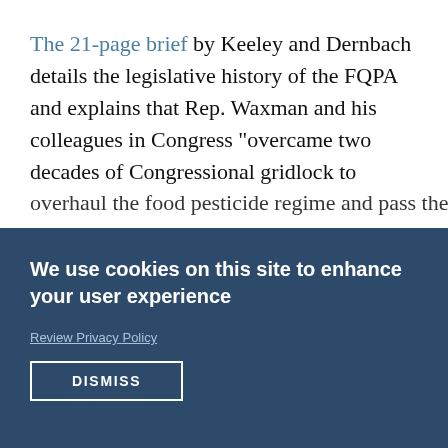The 21-page brief by Keeley and Dernbach details the legislative history of the FQPA and explains that Rep. Waxman and his colleagues in Congress "overcame two decades of Congressional gridlock to overhaul the food pesticide regime and pass the
We use cookies on this site to enhance your user experience
Review Privacy Policy
DISMISS